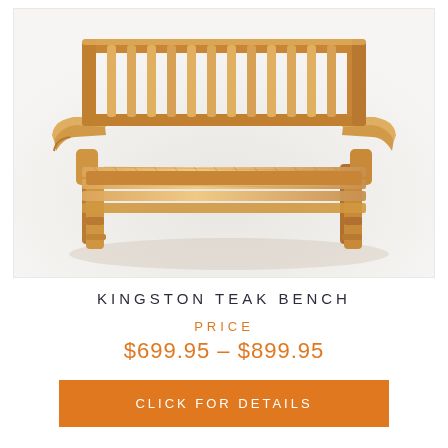[Figure (photo): A wooden teak garden bench with slatted back and seat, armrests on both sides, photographed on a light grey/white background.]
KINGSTON TEAK BENCH
PRICE
$699.95 – $899.95
CLICK FOR DETAILS